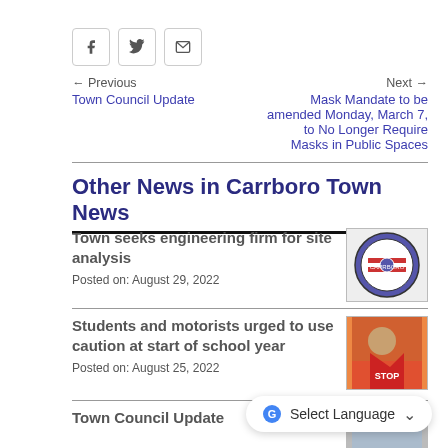[Figure (other): Social share buttons: Facebook, Twitter, Email]
← Previous
Town Council Update
Next →
Mask Mandate to be amended Monday, March 7, to No Longer Require Masks in Public Spaces
Other News in Carrboro Town News
Town seeks engineering firm for site analysis
Posted on: August 29, 2022
[Figure (logo): Town of Carrboro circular seal/logo]
Students and motorists urged to use caution at start of school year
Posted on: August 25, 2022
[Figure (photo): Photo showing students with a stop sign]
Town Council Update